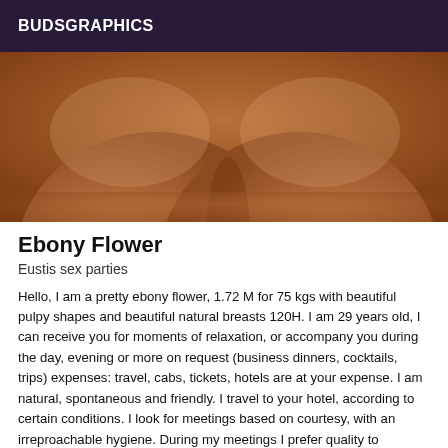BUDSGRAPHICS
[Figure (photo): Close-up photo showing skin/body, warm brown tones]
Ebony Flower
Eustis sex parties
Hello, I am a pretty ebony flower, 1.72 M for 75 kgs with beautiful pulpy shapes and beautiful natural breasts 120H. I am 29 years old, I can receive you for moments of relaxation, or accompany you during the day, evening or more on request (business dinners, cocktails, trips) expenses: travel, cabs, tickets, hotels are at your expense. I am natural, spontaneous and friendly. I travel to your hotel, according to certain conditions. I look for meetings based on courtesy, with an irreproachable hygiene. During my meetings I prefer quality to quantity.